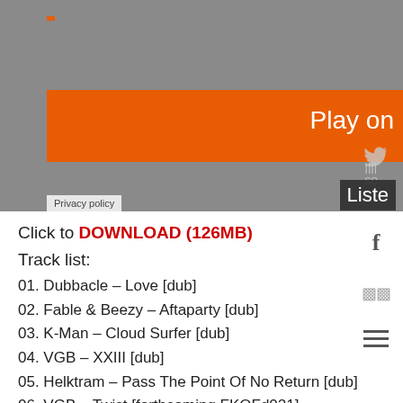[Figure (screenshot): Screenshot of a music streaming/download website with orange banner, gray background, Play on button visible, Listen button, Twitter icon, and Privacy policy label at bottom left.]
Click to DOWNLOAD (126MB)
Track list:
01. Dubbacle – Love [dub]
02. Fable & Beezy – Aftaparty [dub]
03. K-Man – Cloud Surfer [dub]
04. VGB – XXIII [dub]
05. Helktram – Pass The Point Of No Return [dub]
06. VGB – Twist [forthcoming FKOFd021]